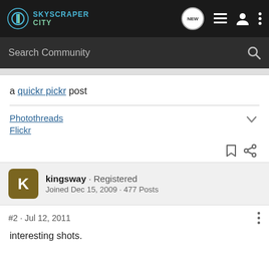SKYSCRAPER CITY
Search Community
a quickr pickr post
Photothreads
Flickr
kingsway · Registered
Joined Dec 15, 2009 · 477 Posts
#2 · Jul 12, 2011
interesting shots.